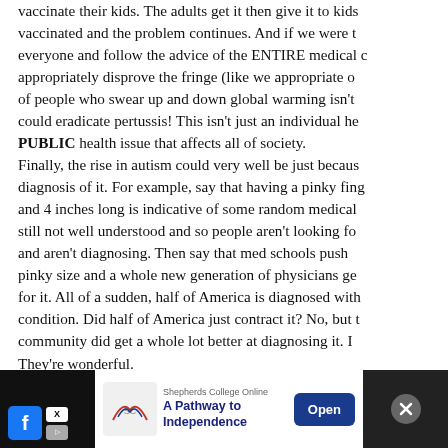vaccinate their kids. The adults get it then give it to kids vaccinated and the problem continues. And if we were t everyone and follow the advice of the ENTIRE medical appropriately disprove the fringe (like we appropriately d of people who swear up and down global warming isn't could eradicate pertussis! This isn't just an individual h PUBLIC health issue that affects all of society. Finally, the rise in autism could very well be just becaus diagnosis of it. For example, say that having a pinky fing and 4 inches long is indicative of some random medical still not well understood and so people aren't looking fo and aren't diagnosing. Then say that med schools push pinky size and a whole new generation of physicians ge for it. All of a sudden, half of America is diagnosed with condition. Did half of America just contract it? No, but t community did get a whole lot better at diagnosing it. I They're wonderful. And that's why I wish they required statistics and publi
[Figure (screenshot): Advertisement banner for Shepherds College Online - 'A Pathway to Independence' with Open button, on dark background with social media icons]